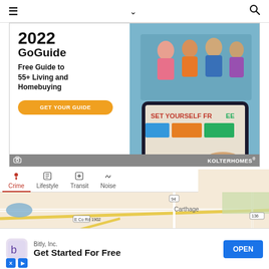≡  ∨  🔍
[Figure (screenshot): Kolter Homes advertisement banner for 2022 GoGuide: Free Guide to 55+ Living and Homebuying. Orange 'GET YOUR GUIDE' button on left, tablet photo on right showing people and 'SET YOURSELF FREE' text. KOLTER HOMES branding at bottom.]
[Figure (map): Map showing Carthage area with Crime/Lifestyle/Transit/Noise tabs. Crime tab is active (red). Map shows street grid around Carthage with a red location pin marker. Roads include route 94, 135, 136, 110, and E Co Rd 1902.]
[Figure (screenshot): Bottom advertisement bar: Bitly, Inc. 'Get Started For Free' with blue OPEN button. Ad attribution badges (X and play icons) at bottom left.]